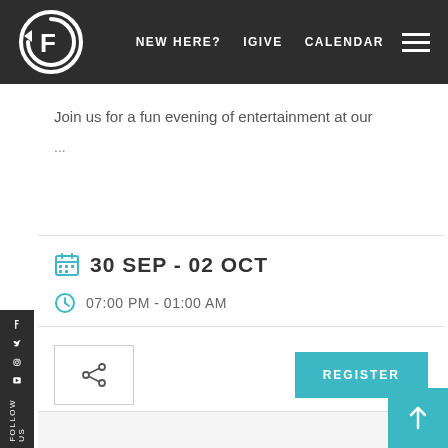[Figure (logo): Circular logo with stylized F letter and rotating arrow, white on dark background]
NEW HERE?   IGIVE   CALENDAR
Join us for a fun evening of entertainment at our ...
30 SEP - 02 OCT
07:00 PM - 01:00 AM
REGISTER